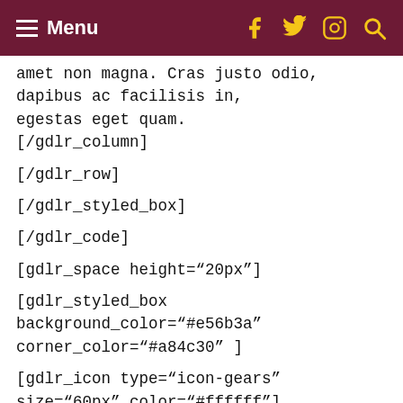Menu
amet non magna. Cras justo odio, dapibus ac facilisis in, egestas eget quam.
[/gdlr_column]

[/gdlr_row]

[/gdlr_styled_box]

[/gdlr_code]

[gdlr_space height="20px"]

[gdlr_styled_box background_color="#e56b3a" corner_color="#a84c30"]

[gdlr_icon type="icon-gears" size="60px" color="#ffffff"] [gdlr_icon type="icon-suitcase" size="60px" color="#ffffff"] [gdlr_icon type="icon-moon" size="60px" color="#ffffff"] [gdlr_icon type="icon-truck" size="60px" color="#ffffff"]